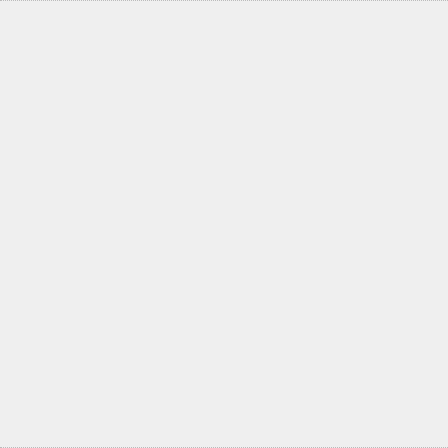Posted by: Lynn (in Louisiana) | November 25, 2...
It's kind of hard to see Travis' sm... depressors, but I think it's there!
Posted by: Clay Hickman | November 25, 2013 at...
That is awesome!!
Posted by: Laura, Levi & Timmy | November 25,...
Wow! Travis must be beside hims... found abilities. Hopefully this ope... reverse itself too much over time... meds.
Posted by: Peggy S. | November 25, 2013 at 08:2...
The comments to this entry are c...